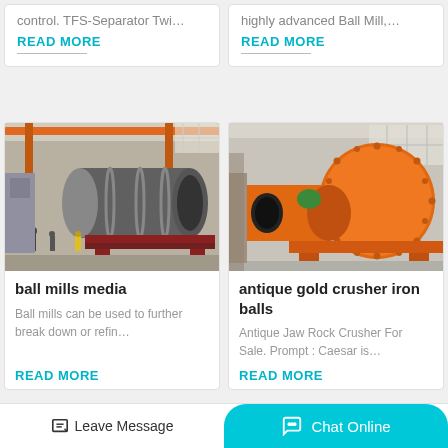control. TFS-Separator Twi…
READ MORE
highly advanced Ball Mill,…
READ MORE
[Figure (photo): Industrial ball mill / rotary drum equipment in a factory, large grey cylindrical machine with orange crane structure overhead, workers visible in background]
ball mills media
Ball mills can be used to further break down or refin…
READ MORE
[Figure (photo): Orange industrial ball mill machine with large spherical drum and cylindrical inlet/outlet, shown in a factory setting]
antique gold crusher iron balls
Antique Jaw Rock Crusher For Sale. Prompt : Caesar is…
READ MORE
Leave Message
Chat Online